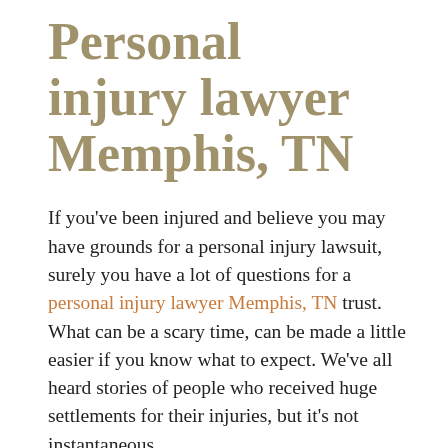Personal injury lawyer Memphis, TN
If you've been injured and believe you may have grounds for a personal injury lawsuit, surely you have a lot of questions for a personal injury lawyer Memphis, TN trust. What can be a scary time, can be made a little easier if you know what to expect. We've all heard stories of people who received huge settlements for their injuries, but it's not instantaneous.
Our law firm has many years of experience in fighting for a fair settlement for our clients. We have found that our clients are happier and more able to focus on their own recovery